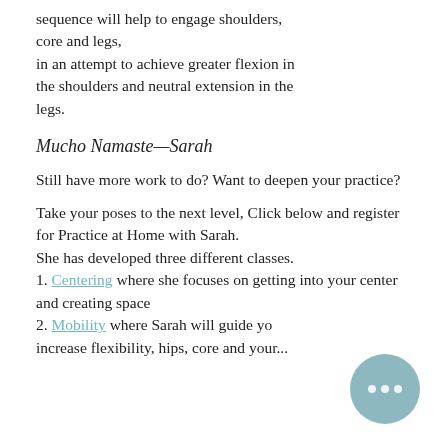sequence will help to engage shoulders, core and legs, in an attempt to achieve greater flexion in the shoulders and neutral extension in the legs.
Mucho Namaste—Sarah
Still have more work to do? Want to deepen your practice?
Take your poses to the next level, Click below and register for Practice at Home with Sarah.
She has developed three different classes.
1. Centering where she focuses on getting into your center and creating space
2. Mobility where Sarah will guide yo...
increase flexibility, hips, core and your...